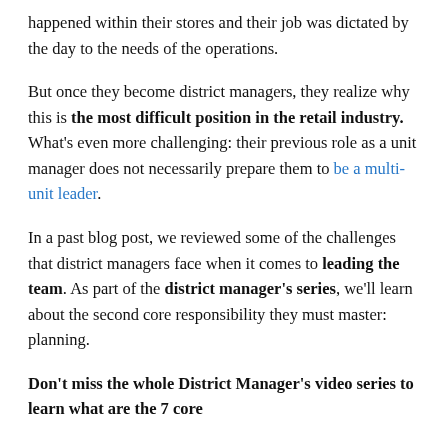happened within their stores and their job was dictated by the day to the needs of the operations.
But once they become district managers, they realize why this is the most difficult position in the retail industry. What's even more challenging: their previous role as a unit manager does not necessarily prepare them to be a multi-unit leader.
In a past blog post, we reviewed some of the challenges that district managers face when it comes to leading the team. As part of the district manager's series, we'll learn about the second core responsibility they must master: planning.
Don't miss the whole District Manager's video series to learn what are the 7 core…